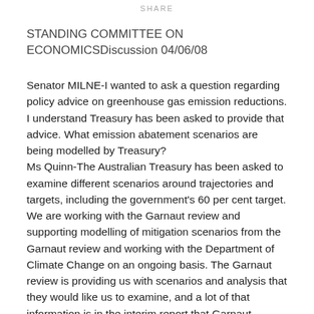SHARE
STANDING COMMITTEE ON ECONOMICSDiscussion 04/06/08
Senator MILNE-I wanted to ask a question regarding policy advice on greenhouse gas emission reductions. I understand Treasury has been asked to provide that advice. What emission abatement scenarios are being modelled by Treasury?
Ms Quinn-The Australian Treasury has been asked to examine different scenarios around trajectories and targets, including the government's 60 per cent target. We are working with the Garnaut review and supporting modelling of mitigation scenarios from the Garnaut review and working with the Department of Climate Change on an ongoing basis. The Garnaut review is providing us with scenarios and analysis that they would like us to examine, and a lot of that information is in the interim report that Garnaut provided to the public. The